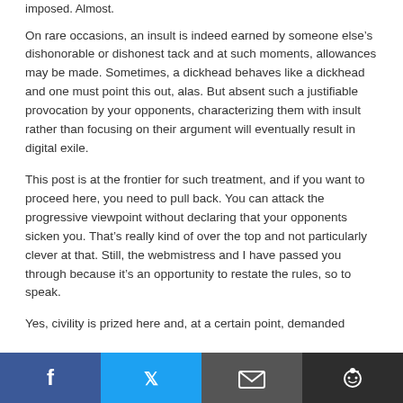imposed. Almost.
On rare occasions, an insult is indeed earned by someone else’s dishonorable or dishonest tack and at such moments, allowances may be made. Sometimes, a dickhead behaves like a dickhead and one must point this out, alas. But absent such a justifiable provocation by your opponents, characterizing them with insult rather than focusing on their argument will eventually result in digital exile.
This post is at the frontier for such treatment, and if you want to proceed here, you need to pull back. You can attack the progressive viewpoint without declaring that your opponents sicken you. That’s really kind of over the top and not particularly clever at that. Still, the webmistress and I have passed you through because it’s an opportunity to restate the rules, so to speak.
Yes, civility is prized here and, at a certain point, demanded
[Figure (other): Social sharing bar with Facebook (blue), Twitter (light blue), Email (dark gray), and Reddit (dark/black) buttons with respective icons]